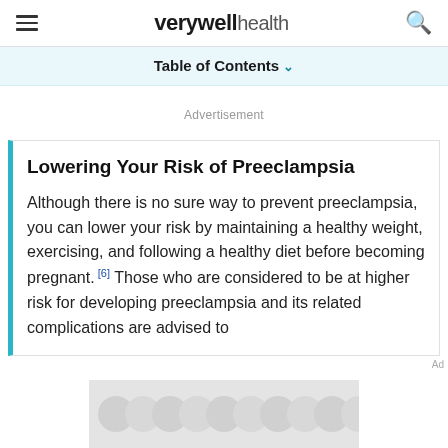verywell health
Table of Contents
Advertisement
Lowering Your Risk of Preeclampsia
Although there is no sure way to prevent preeclampsia, you can lower your risk by maintaining a healthy weight, exercising, and following a healthy diet before becoming pregnant.[6] Those who are considered to be at higher risk for developing preeclampsia and its related complications are advised to